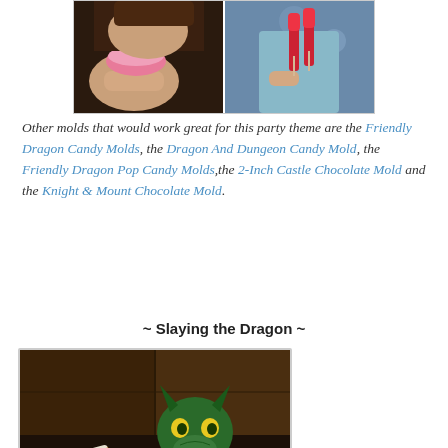[Figure (photo): Two photos side by side of children holding candy/lollipops at a party]
Other molds that would work great for this party theme are the Friendly Dragon Candy Molds, the Dragon And Dungeon Candy Mold, the Friendly Dragon Pop Candy Molds,the 2-Inch Castle Chocolate Mold and the Knight & Mount Chocolate Mold.
~ Slaying the Dragon ~
[Figure (photo): A green dragon toy/puppet surrounded by bags of candy on a dark surface]